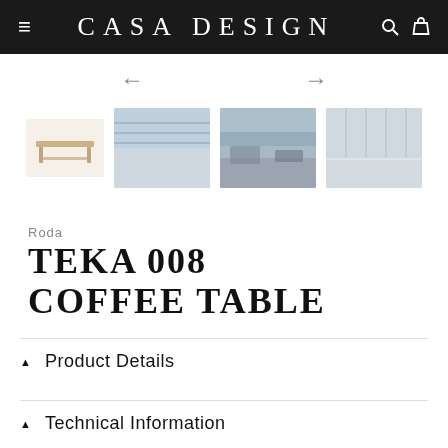CASA DESIGN
[Figure (screenshot): Product image gallery showing four thumbnail images of the TEKA 008 Coffee Table: a wooden coffee table on white background, a close-up of the table surface, an outdoor lifestyle shot with seating area, and another outdoor/interior shot. Navigation arrows (left and right) are shown above the thumbnails.]
Roda
TEKA 008 COFFEE TABLE
▲  Product Details
▲  Technical Information